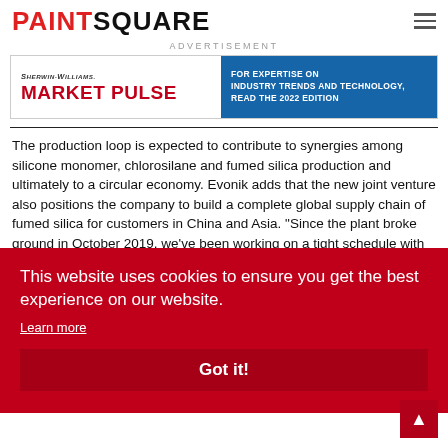PAINTSQUARE
ADVERTISEMENT
[Figure (other): Sherwin-Williams Market Pulse advertisement banner. Left side white background with red 'MARKET PULSE' text, right side blue background with text: FOR EXPERTISE ON INDUSTRY TRENDS AND TECHNOLOGY, READ THE 2022 EDITION]
The production loop is expected to contribute to synergies among silicone monomer, chlorosilane and fumed silica production and ultimately to a circular economy. Evonik adds that the new joint venture also positions the company to build a complete global supply chain of fumed silica for customers in China and Asia. "Since the plant broke ground in October 2019, we've been working on a tight schedule with high quality and safety standards. We live up to our commitment to the customers," said Fuliang Xia, President of Evonik Greater China, in his speech at the opening ceremony.
"Evonik continues to develop its global footprint and focus on providing local customers with tailor-made products
This website uses cookies to ensure you get the best experience on our website.
Learn more
Got it!